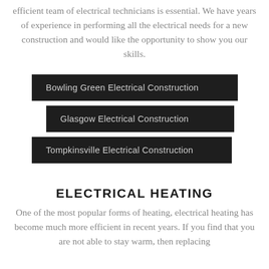efficient team of electrical technicians is essential. We have years of experience in performing all the electrical needs for a new construction and would like the opportunity to show you our skills.
Bowling Green Electrical Construction
Glasgow Electrical Construction
Tompkinsville Electrical Construction
ELECTRICAL HEATING
One of the most popular forms of heating, electrical heating has become much more efficient in recent years. If you find that you are not able to stay warm, then replacing